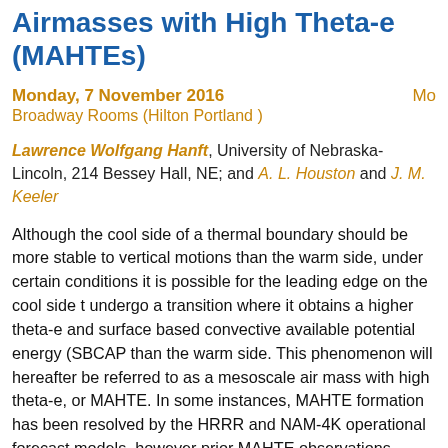Airmasses with High Theta-e (MAHTEs)
Monday, 7 November 2016
Broadway Rooms (Hilton Portland )
Lawrence Wolfgang Hanft, University of Nebraska-Lincoln, 214 Bessey Hall, NE; and A. L. Houston and J. M. Keeler
Although the cool side of a thermal boundary should be more stable to vertical motions than the warm side, under certain conditions it is possible for the leading edge on the cool side to undergo a transition where it obtains a higher theta-e and surface based convective available potential energy (SBCAPE) than the warm side. This phenomenon will hereafter be referred to as a mesoscale air mass with high theta-e, or MAHTE. In some instances, MAHTE formation has been resolved by the HRRR and NAM-4K operational forecast models, however prior MAHTE observations suggest that this will not always occur. Two MAHTEs observed during the VORTEX-95 and BAMEX field campaigns were on the order of 5-10 km in width; a feature this small will not be accurately resolved by a numerical model with grid spacings of 3-4 km. Due to the locally enhanced conditional instability, understanding the processes responsible for MAHTE formation